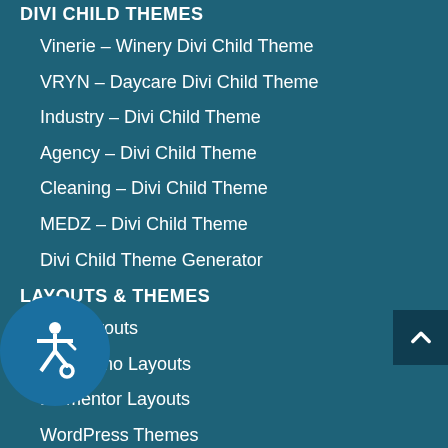DIVI CHILD THEMES
Vinerie – Winery Divi Child Theme
VRYN – Daycare Divi Child Theme
Industry – Divi Child Theme
Agency – Divi Child Theme
Cleaning – Divi Child Theme
MEDZ – Divi Child Theme
Divi Child Theme Generator
LAYOUTS & THEMES
Divi Layouts
Divi Demo Layouts
Elementor Layouts
WordPress Themes
…OURCES
Behind the Screens
Design & Typography